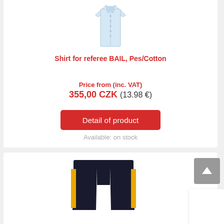[Figure (photo): Light blue referee shirt, button-up, displayed on white background]
Shirt for referee BAIL, Pes/Cotton
Price from (inc. VAT)
355,00 CZK (13.98 €)
Detail of product
Available: on stock
[Figure (photo): Navy blue judo shorts with yellow stripe on the side and JUDO text]